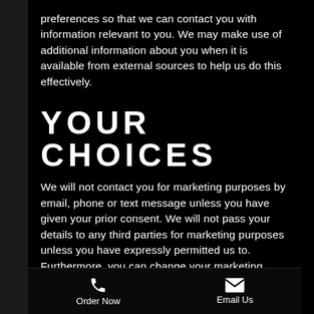preferences so that we can contact you with information relevant to you. We may make use of additional information about you when it is available from external sources to help us do this effectively.
YOUR CHOICES
We will not contact you for marketing purposes by email, phone or text message unless you have given your prior consent. We will not pass your details to any third parties for marketing purposes unless you have expressly permitted us to. Furthermore, you can change your marketing preferences at any time by contacting us by email at eat@veronakitchen.com. You have a right to request a copy of the personal information that Verona Kitchen & Bar holds about you and have any
Order Now   Email Us